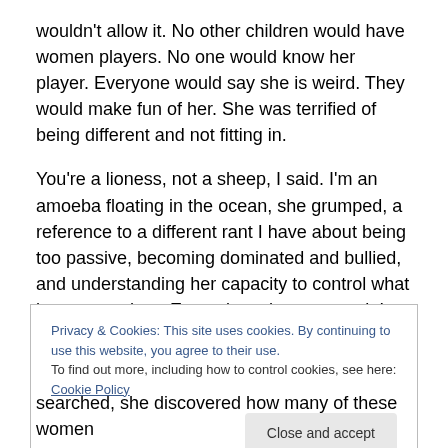wouldn't allow it. No other children would have women players. No one would know her player. Everyone would say she is weird. They would make fun of her. She was terrified of being different and not fitting in.
You're a lioness, not a sheep, I said. I'm an amoeba floating in the ocean, she grumped, a reference to a different rant I have about being too passive, becoming dominated and bullied, and understanding her capacity to control what happens to her.  Every time she protested, I made baa-ing sounds. I said all I am hearing is sheep. You
Privacy & Cookies: This site uses cookies. By continuing to use this website, you agree to their use.
To find out more, including how to control cookies, see here: Cookie Policy
Close and accept
searched, she discovered how many of these women